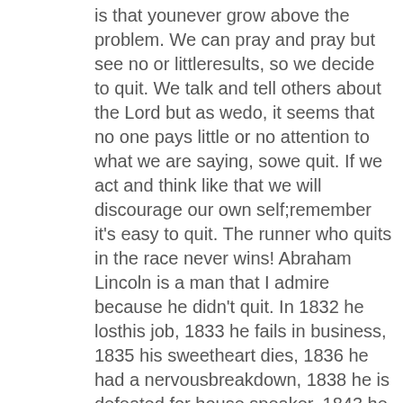is that younever grow above the problem. We can pray and pray but see no or littleresults, so we decide to quit. We talk and tell others about the Lord but as wedo, it seems that no one pays little or no attention to what we are saying, sowe quit. If we act and think like that we will discourage our own self;remember it's easy to quit. The runner who quits in the race never wins! Abraham Lincoln is a man that I admire because he didn't quit. In 1832 he losthis job, 1833 he fails in business, 1835 his sweetheart dies, 1836 he had a nervousbreakdown, 1838 he is defeated for house speaker, 1843 he is defeated fornomination for Congress, 1854 he was defeated for US Senate, 1856 he wasdefeated for nomination for Vice President, 1858 he was defeated again for USSenate. Over twenty-five years of failures and setbacks; he could have said"what's the use I'll never amount to anything I have tried and failed, Ithink I'll just quit." If Abraham Lincoln would have had that type of attitudehe would have